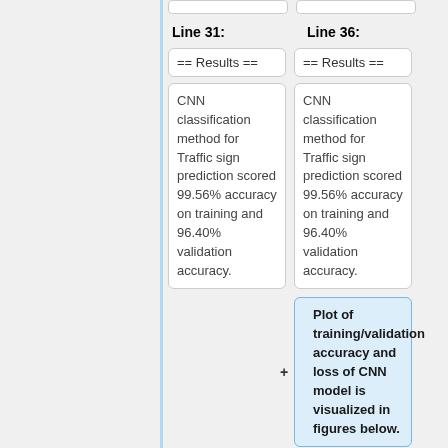Line 31:
Line 36:
== Results ==
== Results ==
CNN classification method for Traffic sign prediction scored 99.56% accuracy on training and 96.40% validation accuracy.
CNN classification method for Traffic sign prediction scored 99.56% accuracy on training and 96.40% validation accuracy.
Plot of training/validation accuracy and loss of CNN model is visualized in figures below.